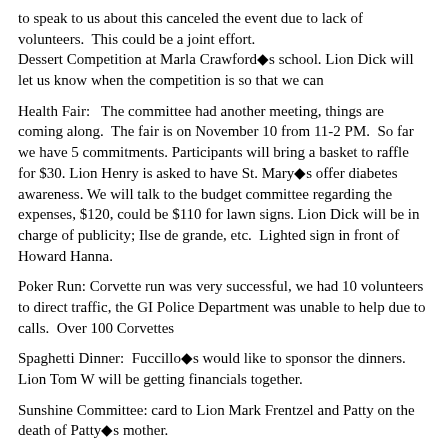to speak to us about this canceled the event due to lack of volunteers.  This could be a joint effort. Dessert Competition at Marla Crawford◆s school. Lion Dick will let us know when the competition is so that we can
Health Fair:   The committee had another meeting, things are coming along.  The fair is on November 10 from 11-2 PM.  So far we have 5 commitments. Participants will bring a basket to raffle for $30. Lion Henry is asked to have St. Mary◆s offer diabetes awareness. We will talk to the budget committee regarding the expenses, $120, could be $110 for lawn signs. Lion Dick will be in charge of publicity; Ilse de grande, etc.  Lighted sign in front of Howard Hanna.
Poker Run: Corvette run was very successful, we had 10 volunteers to direct traffic, the GI Police Department was unable to help due to calls.  Over 100 Corvettes
Spaghetti Dinner:  Fuccillo◆s would like to sponsor the dinners. Lion Tom W will be getting financials together.
Sunshine Committee: card to Lion Mark Frentzel and Patty on the death of Patty◆s mother.
Lion Club International festival:  Miranda Proctor USA